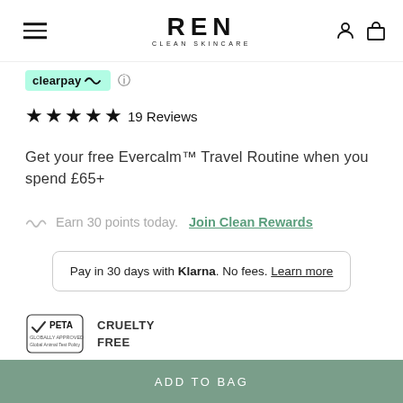REN CLEAN SKINCARE
[Figure (logo): Clearpay badge with teal background and arrow logo]
★★★★★ 19 Reviews
Get your free Evercalm™ Travel Routine when you spend £65+
Earn 30 points today. Join Clean Rewards
Pay in 30 days with Klarna. No fees. Learn more
[Figure (logo): PETA Approved logo with Cruelty Free text]
Info  Results  How To Use
ADD TO BAG